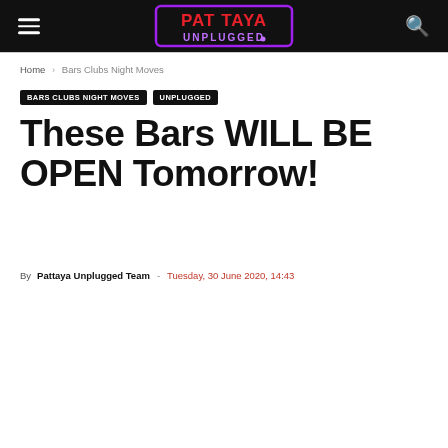Pattaya Unplugged
Home › Bars Clubs Night Moves
BARS CLUBS NIGHT MOVES   UNPLUGGED
These Bars WILL BE OPEN Tomorrow!
By Pattaya Unplugged Team - Tuesday, 30 June 2020, 14:43